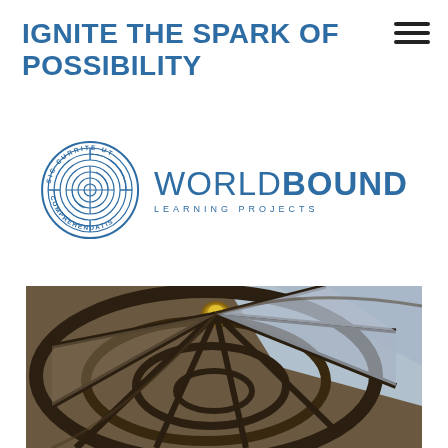IGNITE THE SPARK OF POSSIBILITY
[Figure (logo): WorldBound Learning Projects logo: circular maze/labyrinth emblem with text 'SIC CURRITE UT COMPREHENDATIS' around the border, paired with 'WORLDBOUND LEARNING PROJECTS' text in blue]
[Figure (photo): Close-up photograph of a spiral staircase viewed from above, showing iron/metal railings curving downward in a spiral pattern with a central brass/gold bolt, stone steps visible]